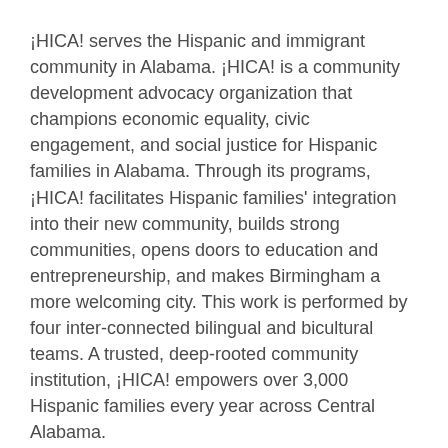¡HICA! serves the Hispanic and immigrant community in Alabama. ¡HICA! is a community development advocacy organization that champions economic equality, civic engagement, and social justice for Hispanic families in Alabama. Through its programs, ¡HICA! facilitates Hispanic families' integration into their new community, builds strong communities, opens doors to education and entrepreneurship, and makes Birmingham a more welcoming city. This work is performed by four inter-connected bilingual and bicultural teams. A trusted, deep-rooted community institution, ¡HICA! empowers over 3,000 Hispanic families every year across Central Alabama.
What makes your organization unique?